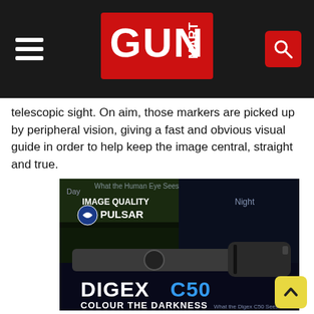GUN MART
telescopic sight. On aim, those markers are picked up by peripheral vision, giving a fast and obvious visual guide in order to help keep the image central, straight and true.
[Figure (photo): Pulsar Digex C50 digital night vision rifle scope advertisement. Shows the scope against a composite image comparing Day/IMAGE QUALITY/Night views. Text reads: DIGEX C50 COLOUR THE DARKNESS. Pulsar logo visible top left.]